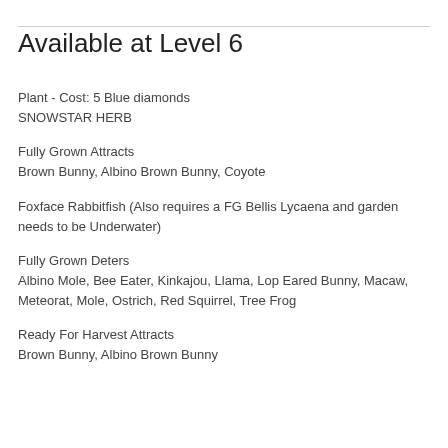Available at Level 6
Plant - Cost: 5 Blue diamonds
SNOWSTAR HERB
Fully Grown Attracts
Brown Bunny, Albino Brown Bunny, Coyote
Foxface Rabbitfish (Also requires a FG Bellis Lycaena and garden needs to be Underwater)
Fully Grown Deters
Albino Mole, Bee Eater, Kinkajou, Llama, Lop Eared Bunny, Macaw, Meteorat, Mole, Ostrich, Red Squirrel, Tree Frog
Ready For Harvest Attracts
Brown Bunny, Albino Brown Bunny